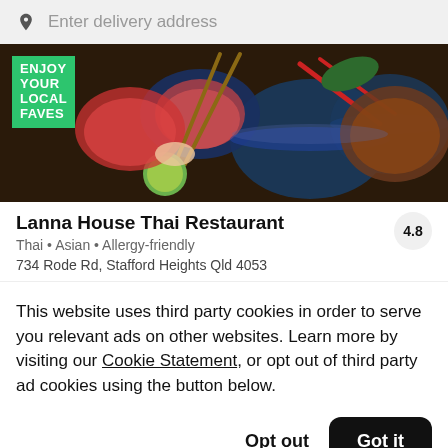Enter delivery address
[Figure (photo): Hero banner showing Thai food dishes with text overlay 'ENJOY YOUR LOCAL FAVES' on a green badge]
Lanna House Thai Restaurant
Thai • Asian • Allergy-friendly
734 Rode Rd, Stafford Heights Qld 4053
This website uses third party cookies in order to serve you relevant ads on other websites. Learn more by visiting our Cookie Statement, or opt out of third party ad cookies using the button below.
Opt out
Got it